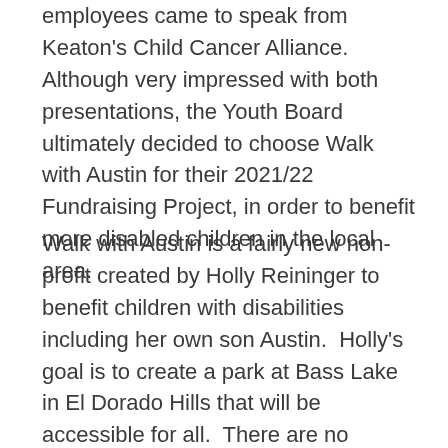employees came to speak from Keaton's Child Cancer Alliance. Although very impressed with both presentations, the Youth Board ultimately decided to choose Walk with Austin for their 2021/22 Fundraising Project, in order to benefit more disabled children in the local area.
Walk with Austin is a fairly new non-profit created by Holly Reininger to benefit children with disabilities including her own son Austin.  Holly's goal is to create a park at Bass Lake in El Dorado Hills that will be accessible for all.  There are no current parks that meet the needs of children with disabilities in our area and this park would fill that void.  Mothers like Holly are forced to travel as far as the Bay Area in order to find a park that has